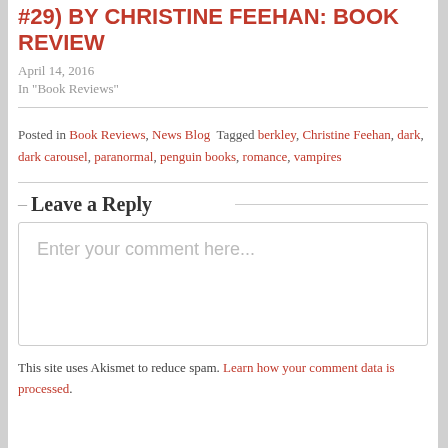#29) BY CHRISTINE FEEHAN: BOOK REVIEW
April 14, 2016
In "Book Reviews"
Posted in Book Reviews, News Blog  Tagged berkley, Christine Feehan, dark, dark carousel, paranormal, penguin books, romance, vampires
Leave a Reply
Enter your comment here...
This site uses Akismet to reduce spam. Learn how your comment data is processed.